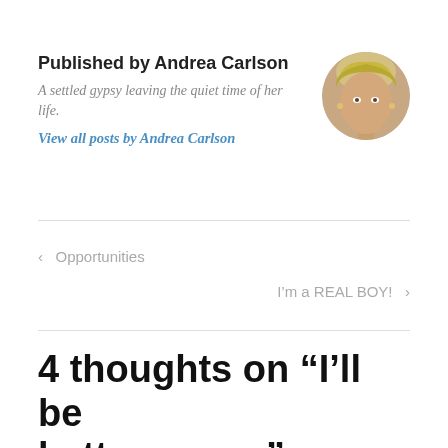Published by Andrea Carlson
A settled gypsy leaving the quiet time of her life.
View all posts by Andrea Carlson
[Figure (photo): Circular avatar photo of Andrea Carlson, a blonde woman with short hair]
< Opportunities
I'm a REAL BOY! >
4 thoughts on “I’ll be better soon..”